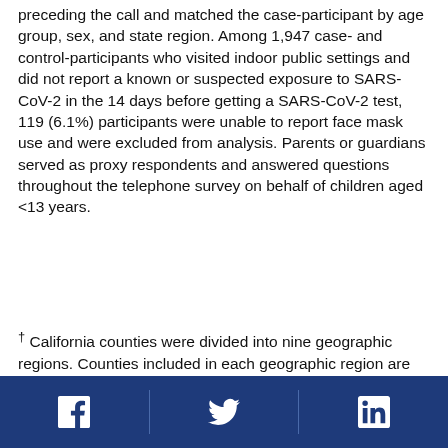preceding the call and matched the case-participant by age group, sex, and state region. Among 1,947 case- and control-participants who visited indoor public settings and did not report a known or suspected exposure to SARS-CoV-2 in the 14 days before getting a SARS-CoV-2 test, 119 (6.1%) participants were unable to report face mask use and were excluded from analysis. Parents or guardians served as proxy respondents and answered questions throughout the telephone survey on behalf of children aged <13 years.
† California counties were divided into nine geographic regions. Counties included in each geographic region are listed online in Table S1. https://academic.oup.com/cid/advance-article/doi/10.1093/cid/ciab640/6324500#supplementa...
Social media icons: Facebook, Twitter, LinkedIn